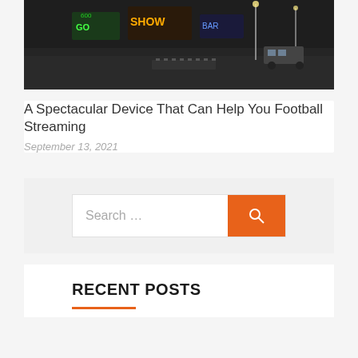[Figure (photo): Night city street scene with neon lights and signs, dark urban environment]
A Spectacular Device That Can Help You Football Streaming
September 13, 2021
Search …
RECENT POSTS